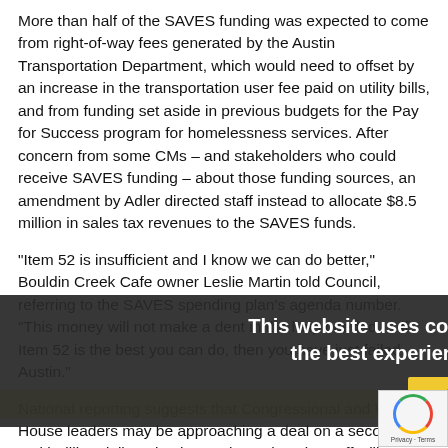More than half of the SAVES funding was expected to come from right-of-way fees generated by the Austin Transportation Department, which would need to offset by an increase in the transportation user fee paid on utility bills, and from funding set aside in previous budgets for the Pay for Success program for homelessness services. After concern from some CMs – and stakeholders who could receive SAVES funding – about those funding sources, an amendment by Adler directed staff instead to allocate $8.5 million in sales tax revenues to the SAVES funds.
“Item 52 is insufficient and I know we can do better,” Bouldin Creek Cafe owner Leslie Martin told Council, referring to the SAVES spending plan’s agenda number. “This money will not make a dent in the help needed … if Item 52 is the best you can do, then you have just failed Austin.”
National reporting suggests that Congressional and White House leaders may be approaching a deal on a second multi-trillion dollar stimulus package, but city staff will continu looking for more local funds. Some CMs offered directio staff on where to look – such as funding set aside in the Fiscal Year 2021 budget (in effect as of Oct. 1) for Convention
This website uses cookies to ensure you get the best experience on our website.
OK